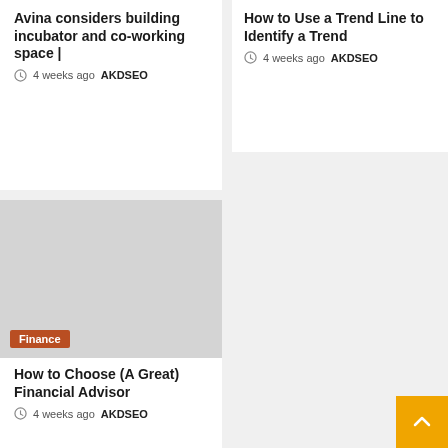Avina considers building incubator and co-working space |
4 weeks ago  AKDSEO
How to Use a Trend Line to Identify a Trend
4 weeks ago  AKDSEO
[Figure (photo): Gray placeholder image with Finance badge overlay]
How to Choose (A Great) Financial Advisor
4 weeks ago  AKDSEO